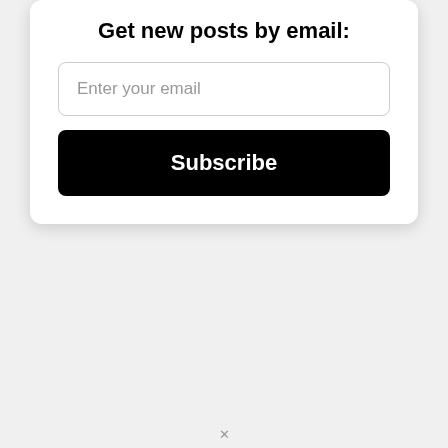Get new posts by email:
Enter your email
Subscribe
×